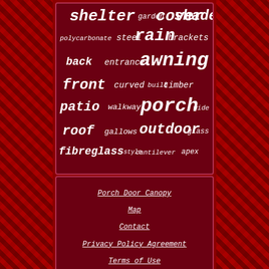[Figure (infographic): Word cloud on dark red background with words related to porch/canopy: shelter, garden, cover, shade, polycarbonate, steel, rain, brackets, back, entrance, awning, front, curved, build, timber, patio, walkway, porch, wide, roof, gallows, outdoor, glass, fibreglass, style, cantilever, apex]
Porch Door Canopy
Map
Contact
Privacy Policy Agreement
Terms of Use